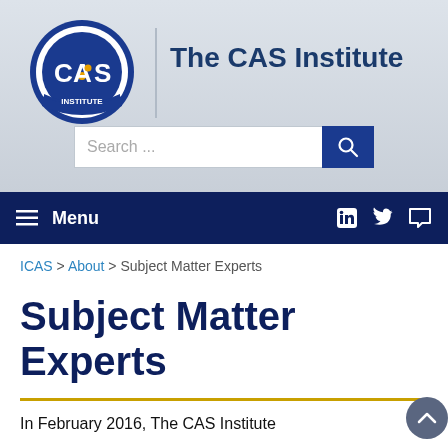[Figure (logo): CAS Institute circular logo with blue background and gold dot]
The CAS Institute
[Figure (screenshot): Search bar with text field and blue search button]
≡ Menu   in  🐦  💬
ICAS > About > Subject Matter Experts
Subject Matter Experts
In February 2016, The CAS Institute